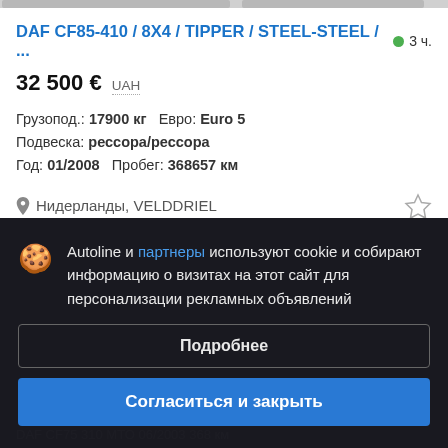DAF CF85-410 / 8X4 / TIPPER / STEEL-STEEL / ...
32 500 € UAH
Грузопод.: 17900 кг  Евро: Euro 5
Подвеска: рессора/рессора
Год: 01/2008  Пробег: 368657 км
Нидерланды, VELDDRIEL
Autoline и партнеры используют cookie и собирают информацию о визитах на этот сайт для персонализации рекламных объявлений
Подробнее
Согласиться и закрыть
DAF CF75 310 MTO 06/2003 368 км